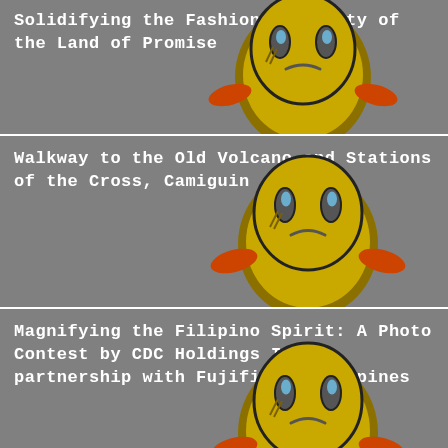[Figure (illustration): Card with yellow cartoon face emoji and bold white text overlay on gray background]
Solidifying the Fashion Community of the Land of Promise
[Figure (illustration): Card with yellow cartoon face emoji and bold white text overlay on gray background]
Walkway to the Old Volcano and Stations of the Cross, Camiguin
[Figure (illustration): Card with yellow cartoon face emoji and bold white text overlay on gray background]
Magnifying the Filipino Spirit: A Photo Contest by CDC Holdings Inc in partnership with Fujifilm Philippines
ARCHIVE
March (1)